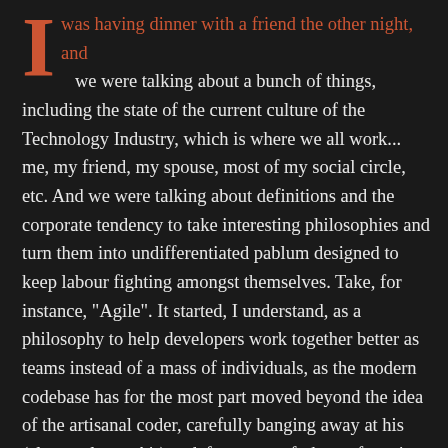I was having dinner with a friend the other night, and we were talking about a bunch of things, including the state of the current culture of the Technology Industry, which is where we all work... me, my friend, my spouse, most of my social circle, etc. And we were talking about definitions and the corporate tendency to take interesting philosophies and turn them into undifferentiated pablum designed to keep labour fighting amongst themselves. Take, for instance, "Agile". It started, I understand, as a philosophy to help developers work together better as teams instead of a mass of individuals, as the modern codebase has for the most part moved beyond the idea of the artisanal coder, carefully banging away at his (almost always his) codeforge to craft the perfect piece of individual bespoke software for the discerning, carefully chosen consumer-slash-patron. As software development